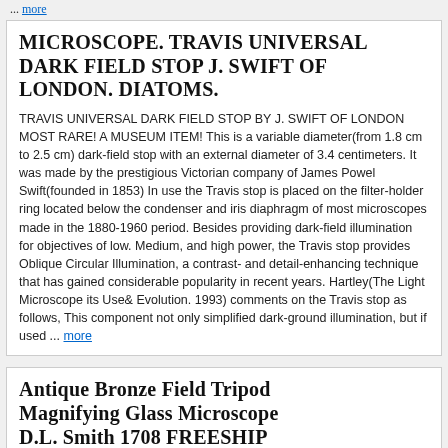more
MICROSCOPE. TRAVIS UNIVERSAL DARK FIELD STOP J. SWIFT OF LONDON. DIATOMS.
TRAVIS UNIVERSAL DARK FIELD STOP BY J. SWIFT OF LONDON MOST RARE! A MUSEUM ITEM! This is a variable diameter(from 1.8 cm to 2.5 cm) dark-field stop with an external diameter of 3.4 centimeters. It was made by the prestigious Victorian company of James Powel Swift(founded in 1853) In use the Travis stop is placed on the filter-holder ring located below the condenser and iris diaphragm of most microscopes made in the 1880-1960 period. Besides providing dark-field illumination for objectives of low. Medium, and high power, the Travis stop provides Oblique Circular Illumination, a contrast- and detail-enhancing technique that has gained considerable popularity in recent years. Hartley(The Light Microscope its Use& Evolution. 1993) comments on the Travis stop as follows, This component not only simplified dark-ground illumination, but if used ... more
Antique Bronze Field Tripod Magnifying Glass Microscope D.L. Smith 1708 FREESHIP
Antique bronze field/desk magnifier on a tripod stand Marked D.L.S. on the top near the lens. And on the underside marked D.L. Smith 1708 Stands 1 1/2" tall and measures 1 1/2" in diameter. Some bending to the outer rim of the lens. Please see the photos I have several antique microscope/magnifying items that are VERY OLD to list. Including Ross of London, and and old field/drum microscope in the case NO RESERVE FREE SHIPPING!